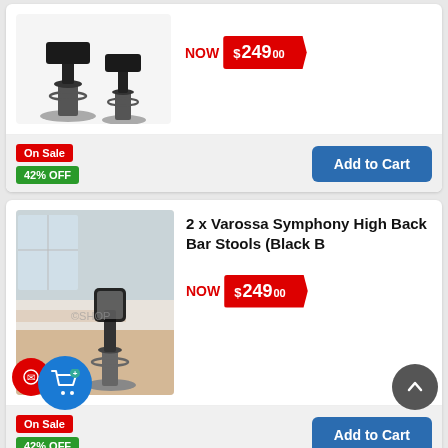[Figure (photo): Two black bar stools with chrome bases (partial view, top of card)]
NOW $249.00
On Sale
42% OFF
Add to Cart
[Figure (photo): Two black high-back bar stools with chrome bases in a modern room setting]
2 x Varossa Symphony High Back Bar Stools (Black B
NOW $249.00
On Sale
42% OFF
Add to Cart